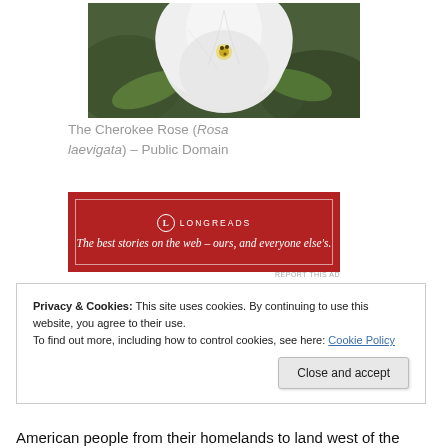[Figure (photo): Close-up photo of a white Cherokee Rose (Rosa laevigata) flower with green leaves against a dark green background]
The Cherokee Rose (Rosa laevigata) – Public Domain
[Figure (infographic): Longreads advertisement banner with red background. Logo circle with L, LONGREADS brand name, decorative lines. Tagline: The best stories on the web – ours, and everyone else's. REPORT THIS AD label.]
Privacy & Cookies: This site uses cookies. By continuing to use this website, you agree to their use.
To find out more, including how to control cookies, see here: Cookie Policy
Close and accept
American people from their homelands to land west of the